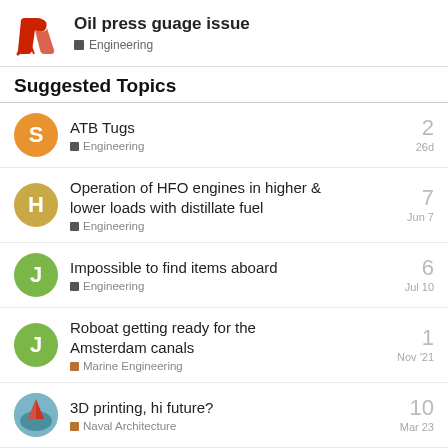Oil press guage issue — Engineering
Suggested Topics
ATB Tugs — Engineering — 2 replies — 26d
Operation of HFO engines in higher & lower loads with distillate fuel — Engineering — 7 replies — Jun 7
Impossible to find items aboard — Engineering — 6 replies — Jul 10
Roboat getting ready for the Amsterdam canals — Marine Engineering — 1 reply — Nov '21
3D printing, hi future? — Naval Architecture — 10 replies — Mar 23